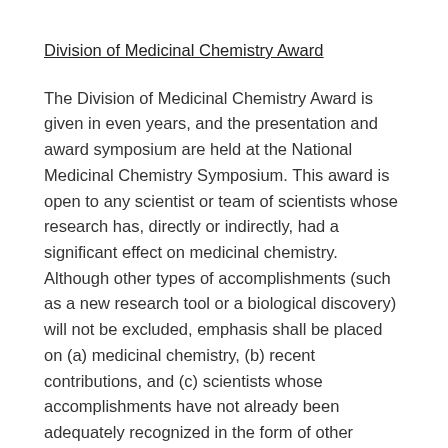Division of Medicinal Chemistry Award
The Division of Medicinal Chemistry Award is given in even years, and the presentation and award symposium are held at the National Medicinal Chemistry Symposium. This award is open to any scientist or team of scientists whose research has, directly or indirectly, had a significant effect on medicinal chemistry. Although other types of accomplishments (such as a new research tool or a biological discovery) will not be excluded, emphasis shall be placed on (a) medicinal chemistry, (b) recent contributions, and (c) scientists whose accomplishments have not already been adequately recognized in the form of other honors.
Nominations must include a detailed letter describing the candidate's research accomplishments and contributions to medicinal chemistry, at least one seconding letter and a